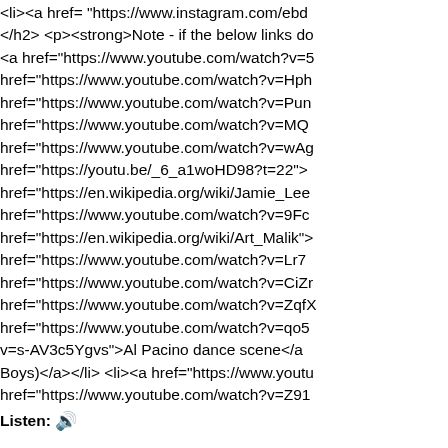<li><a href= "https://www.instagram.com/ebd</li> </h2> <p><strong>Note - if the below links do <a href="https://www.youtube.com/watch?v=5 href="https://www.youtube.com/watch?v=Hph href="https://www.youtube.com/watch?v=Pun href="https://www.youtube.com/watch?v=MQ href="https://www.youtube.com/watch?v=wAg href="https://youtu.be/_6_a1woHD98?t=22"> href="https://en.wikipedia.org/wiki/Jamie_Lee href="https://www.youtube.com/watch?v=9Fc href="https://en.wikipedia.org/wiki/Art_Malik"> href="https://www.youtube.com/watch?v=Lr7 href="https://www.youtube.com/watch?v=CiZr href="https://www.youtube.com/watch?v=ZqfX href="https://www.youtube.com/watch?v=qo5 v=s-AV3c5Ygvs">Al Pacino dance scene</a Boys)<a></li> <li><a href="https://www.youtu href="https://www.youtube.com/watch?v=Z91
Listen: 🔊
79: Idiocracy – A timely distraction
<h2>In this Episode:</h2> <p>Our Heroes di our minds off of doomscrolling twitter all day. href="https://twitter.com/ebdpodcast/">Twitter href="https://www.facebook.com/ebdpodcast" please visit the show page at: <a href= "https writer-i-never-expected-my-movie-to-become href="https://www.youtube.com/watch?v=dMb href="https://www.youtube.com/watch?v=6K-p href="https://www.youtube.com/watch?v=4rB